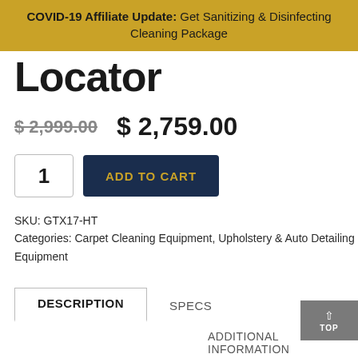COVID-19 Affiliate Update: Get Sanitizing & Disinfecting Cleaning Package
Locator
$ 2,999.00  $ 2,759.00
1  ADD TO CART
SKU: GTX17-HT
Categories: Carpet Cleaning Equipment, Upholstery & Auto Detailing Equipment
DESCRIPTION  SPECS  ADDITIONAL INFORMATION